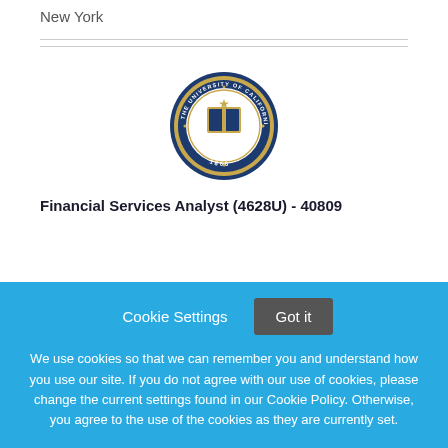New York
[Figure (logo): University of California circular seal/logo with blue and gold colors, book in center, text reading 'The University of California' and '1868']
Financial Services Analyst (4628U) - 40809
Cookie Settings
Got it
We use cookies so that we can remember you and understand how you use our site. If you do not agree with our use of cookies, please change the current settings found in our Cookie Policy. Otherwise, you agree to the use of the cookies as they are currently set.